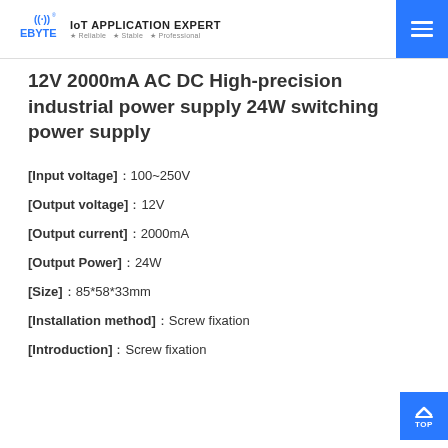EBYTE IoT APPLICATION EXPERT • Reliable • Stable • Professional
12V 2000mA AC DC High-precision industrial power supply 24W switching power supply
[Input voltage]：100~250V
[Output voltage]：12V
[Output current]：2000mA
[Output Power]：24W
[Size]：85*58*33mm
[Installation method]：Screw fixation
[Introduction]：Screw fixation